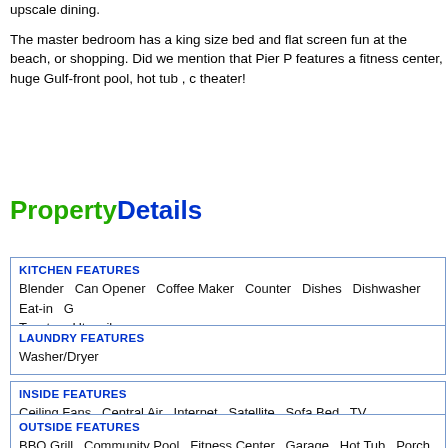upscale dining.
The master bedroom has a king size bed and flat screen fun at the beach, or shopping. Did we mention that Pier P features a fitness center, huge Gulf-front pool, hot tub , c theater!
PropertyDetails
| KITCHEN FEATURES |
| --- |
| Blender   Can Opener   Coffee Maker   Counter   Dishes   Dishwasher   Eat-in   G Toaster   Utensils |
| LAUNDRY FEATURES |
| --- |
| Washer/Dryer |
| INSIDE FEATURES |
| --- |
| Ceiling Fans   Central Air   Internet   Satellite   Sofa Bed   TV |
| OUTSIDE FEATURES |
| --- |
| BBQ Grill   Community Pool   Fitness Center   Garage   Hot Tub   Porch Furniture |